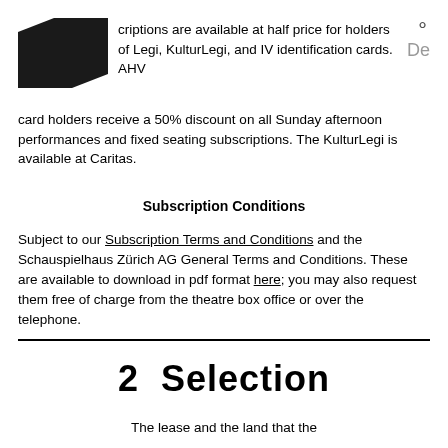[Figure (logo): Black polygon/house-shaped logo in top left corner]
criptions are available at half price for holders of Legi, KulturLegi, and IV identification cards. AHV card holders receive a 50% discount on all Sunday afternoon performances and fixed seating subscriptions. The KulturLegi is available at Caritas.
Subscription Conditions
Subject to our Subscription Terms and Conditions and the Schauspielhaus Zürich AG General Terms and Conditions. These are available to download in pdf format here; you may also request them free of charge from the theatre box office or over the telephone.
2  Selection
The lease and the land that the